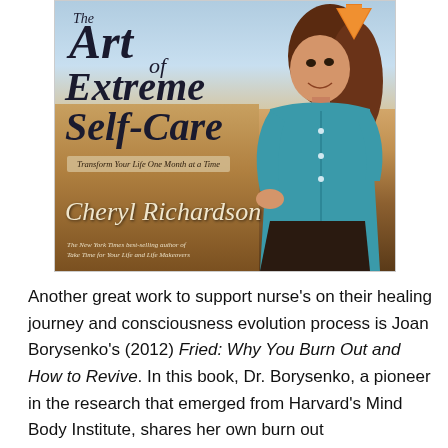[Figure (photo): Book cover of 'The Art of Extreme Self-Care: Transform Your Life One Month at a Time' by Cheryl Richardson. Cover shows a woman in a blue cardigan sitting on a beach. An orange arrow points to the book cover from the upper right.]
Another great work to support nurse's on their healing journey and consciousness evolution process is Joan Borysenko's (2012) Fried: Why You Burn Out and How to Revive. In this book, Dr. Borysenko, a pioneer in the research that emerged from Harvard's Mind Body Institute, shares her own burn out